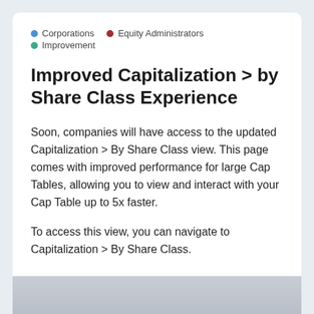Corporations
Equity Administrators
Improvement
Improved Capitalization > by Share Class Experience
Soon, companies will have access to the updated Capitalization > By Share Class view. This page comes with improved performance for large Cap Tables, allowing you to view and interact with your Cap Table up to 5x faster.
To access this view, you can navigate to Capitalization > By Share Class.
[Figure (screenshot): Bottom portion of a screenshot showing a grey/silver interface panel]